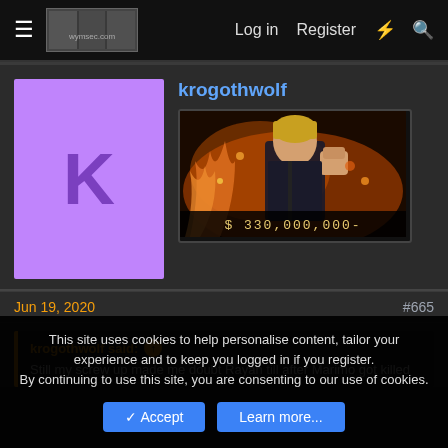Log in  Register
[Figure (illustration): Purple avatar block with letter K for user krogothwolf]
krogothwolf
[Figure (illustration): Anime banner image showing a character with fire effects and the text $ 330,000,000-]
Jun 19, 2020  #665
krogothwolf said:
Still my screw up made me doubt Rayan till after Marimo got killed
This site uses cookies to help personalise content, tailor your experience and to keep you logged in if you register.
By continuing to use this site, you are consenting to our use of cookies.